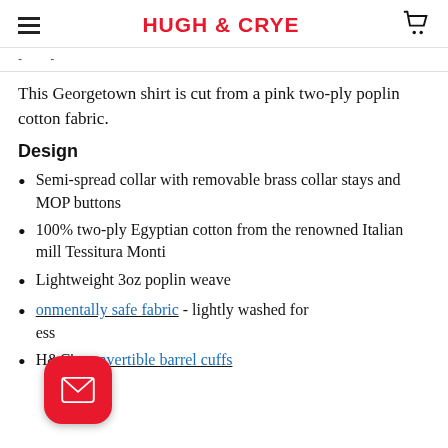HUGH & CRYE
This Georgetown shirt is cut from a pink two-ply poplin cotton fabric.
Design
Semi-spread collar with removable brass collar stays and MOP buttons
100% two-ply Egyptian cotton from the renowned Italian mill Tessitura Monti
Lightweight 3oz poplin weave
environmentally safe fabric - lightly washed for softness
H&C's convertible barrel cuffs